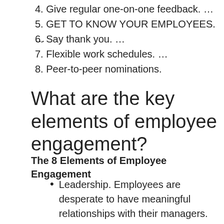4. Give regular one-on-one feedback. …
5. GET TO KNOW YOUR EMPLOYEES. …
6. Say thank you. …
7. Flexible work schedules. …
8. Peer-to-peer nominations.
What are the key elements of employee engagement?
The 8 Elements of Employee Engagement
Leadership. Employees are desperate to have meaningful relationships with their managers. …
Communication. …
Culture. …
Rewards and recognition. …